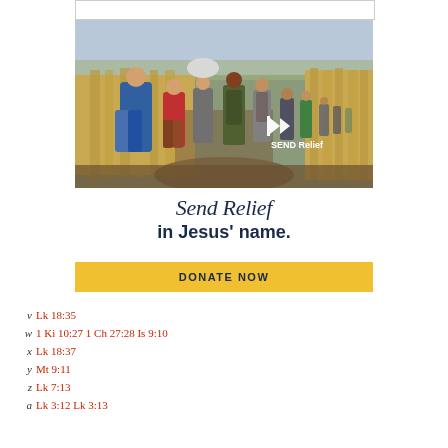[Figure (photo): Group of refugees/migrants walking along a muddy path through fields, carrying bags and backpacks, with a SEND Relief logo overlay in white in the lower right of the image.]
Send Relief
in Jesus' name.
DONATE NOW
v  Lk 18:35
w  1 Ki 10:27 1 Ch 27:28 Is 9:10
x  Lk 18:37
y  Mt 9:11
z  Lk 7:13
a  Lk 3:12 Lk 3:13